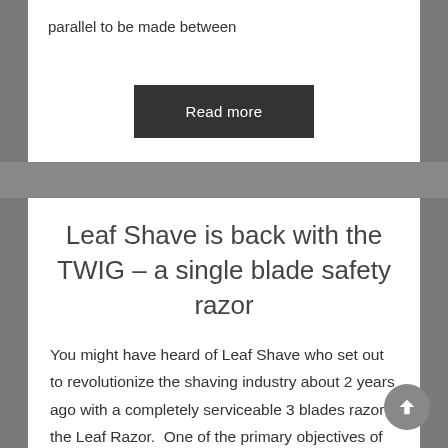parallel to be made between
Read more
Leaf Shave is back with the TWIG – a single blade safety razor
You might have heard of Leaf Shave who set out to revolutionize the shaving industry about 2 years ago with a completely serviceable 3 blades razor; the Leaf Razor.  One of the primary objectives of Leaf Shave was to reduce the amount of non-recyclable plastic produced for disposable and